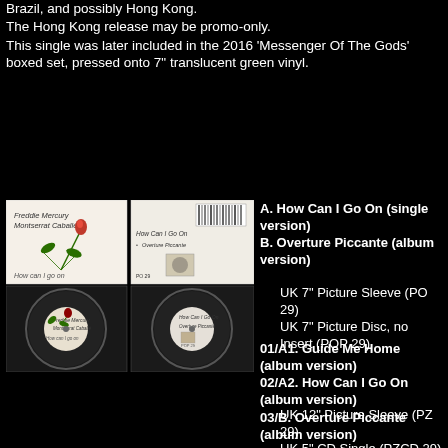Brazil, and possibly Hong Kong.
The Hong Kong release may be promo-only.
This single was later included in the 2016 'Messenger Of The Gods' boxed set, pressed onto 7" translucent green vinyl.
[Figure (photo): 2x2 grid of images: top-left shows front sleeve of Freddie Mercury & Montserrat Caballé 'How Can I Go On' with a red rose; top-right shows back/label of 7" single; bottom-left shows picture disc front (circular) with rose; bottom-right shows picture disc back (circular).]
A. How Can I Go On (single version)
B. Overture Piccante (album version)
UK 7" Picture Sleeve (PO 29)
UK 7" Picture Disc, no Insert (POP 29)
01/A1. Guide Me Home (album version)
02/A2. How Can I Go On (album version)
03/B. Overture Piccante (album version)
UK 12" Picture Sleeve (PZ 29)
UK 5" CD Single (PZCD 29)